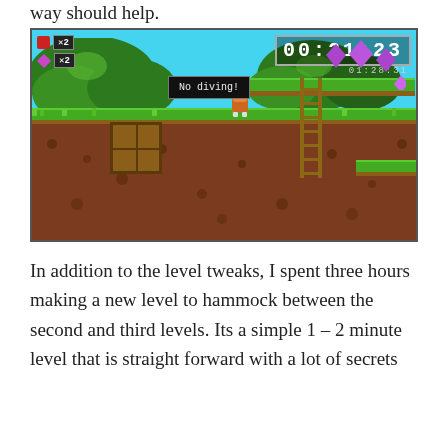way should help.
[Figure (screenshot): A 2D pixel art platformer game screenshot showing a jungle/forest level. HUD in top-left shows apple x2 and gem x2 counts. Top-right shows timer '00:21:23' with sub-timer '01:28:31'. A speech bubble reads 'No diving!' near the player character. There is a wooden ladder, purple gems, wooden crate, green ground and trees in the background.]
In addition to the level tweaks, I spent three hours making a new level to hammock between the second and third levels. Its a simple 1 – 2 minute level that is straight forward with a lot of secrets